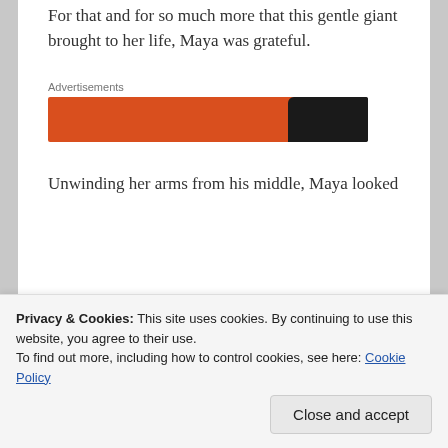For that and for so much more that this gentle giant brought to her life, Maya was grateful.
Advertisements
[Figure (other): An advertisement banner showing an orange and black device image.]
Unwinding her arms from his middle, Maya looked
Privacy & Cookies: This site uses cookies. By continuing to use this website, you agree to their use.
To find out more, including how to control cookies, see here: Cookie Policy
Close and accept